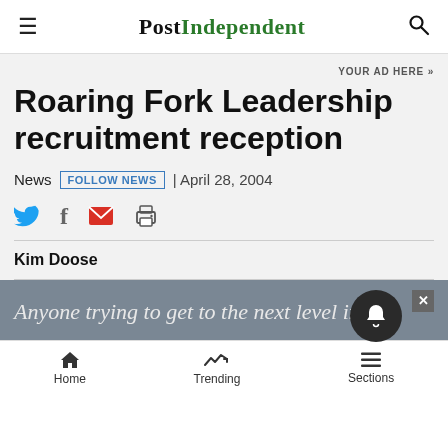POST INDEPENDENT
YOUR AD HERE »
Roaring Fork Leadership recruitment reception
News | FOLLOW NEWS | April 28, 2004
Kim Doose
Anyone trying to get to the next level in life
Home  Trending  Sections